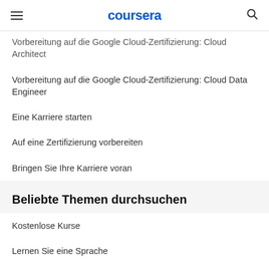coursera
Vorbereitung auf die Google Cloud-Zertifizierung: Cloud Architect
Vorbereitung auf die Google Cloud-Zertifizierung: Cloud Data Engineer
Eine Karriere starten
Auf eine Zertifizierung vorbereiten
Bringen Sie Ihre Karriere voran
Beliebte Themen durchsuchen
Kostenlose Kurse
Lernen Sie eine Sprache
Python